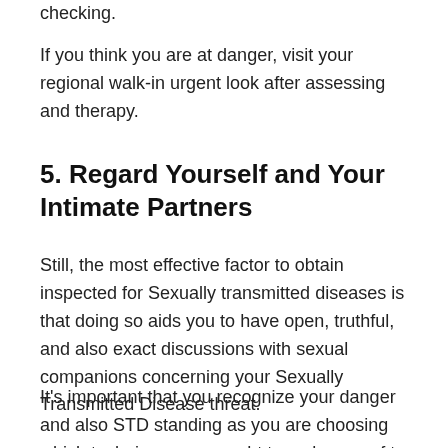checking.
If you think you are at danger, visit your regional walk-in urgent look after assessing and therapy.
5. Regard Yourself and Your Intimate Partners
Still, the most effective factor to obtain inspected for Sexually transmitted diseases is that doing so aids you to have open, truthful, and also exact discussions with sexual companions concerning your Sexually Transmitted Disease threat.
It's important that you recognize your danger and also STD standing as you are choosing which techniques you ought to make use of to have risk-free sex.